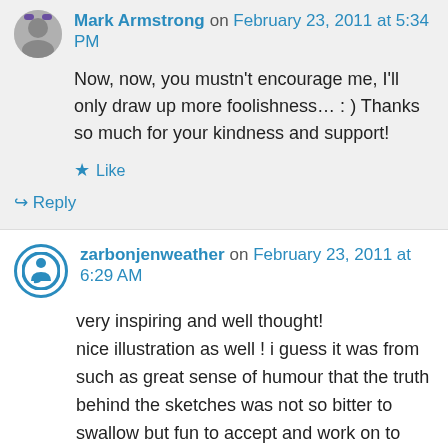Mark Armstrong on February 23, 2011 at 5:34 PM
Now, now, you mustn't encourage me, I'll only draw up more foolishness… : ) Thanks so much for your kindness and support!
Like
Reply
zarbonjenweather on February 23, 2011 at 6:29 AM
very inspiring and well thought!
nice illustration as well ! i guess it was from such as great sense of humour that the truth behind the sketches was not so bitter to swallow but fun to accept and work on to make the world a better